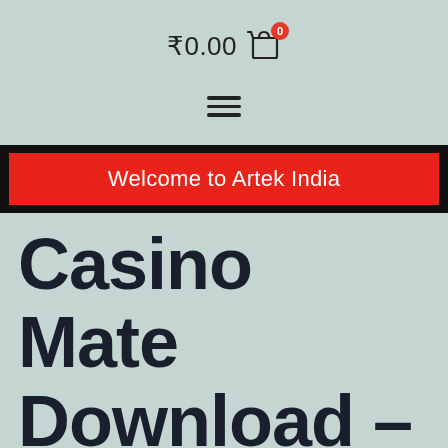₹0.00 🛒 (0)
[Figure (infographic): Hamburger menu icon (three horizontal lines)]
Welcome to Artek India
Casino Mate Download – Payout and